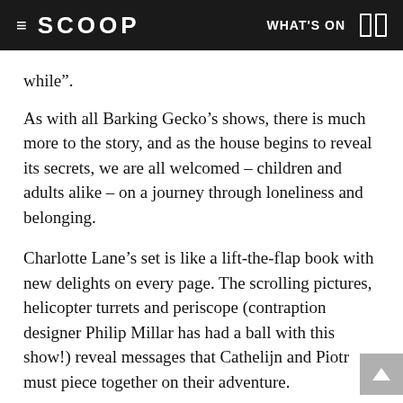≡ SCOOP    WHAT'S ON
while”.
As with all Barking Gecko’s shows, there is much more to the story, and as the house begins to reveal its secrets, we are all welcomed – children and adults alike – on a journey through loneliness and belonging.
Charlotte Lane’s set is like a lift-the-flap book with new delights on every page. The scrolling pictures, helicopter turrets and periscope (contraption designer Philip Millar has had a ball with this show!) reveal messages that Cathelijn and Piotr must piece together on their adventure.
Melbourne actor Chanella Macri plays Cathelijn as